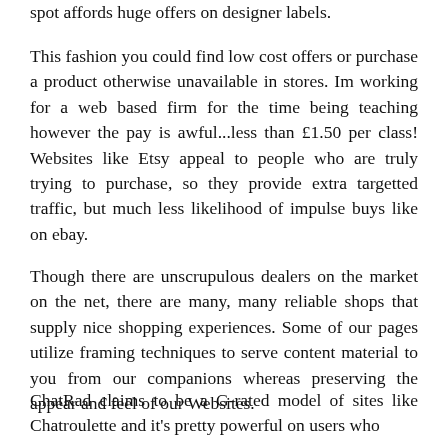spot affords huge offers on designer labels.
This fashion you could find low cost offers or purchase a product otherwise unavailable in stores. Im working for a web based firm for the time being teaching however the pay is awful...less than £1.50 per class! Websites like Etsy appeal to people who are truly trying to purchase, so they provide extra targetted traffic, but much less likelihood of impulse buys like on ebay.
Though there are unscrupulous dealers on the market on the net, there are many, many reliable shops that supply nice shopping experiences. Some of our pages utilize framing techniques to serve content material to you from our companions whereas preserving the appear and feel of our Websites.
ChatRad claims to be a G-rated model of sites like Chatroulette and it's pretty powerful on users who